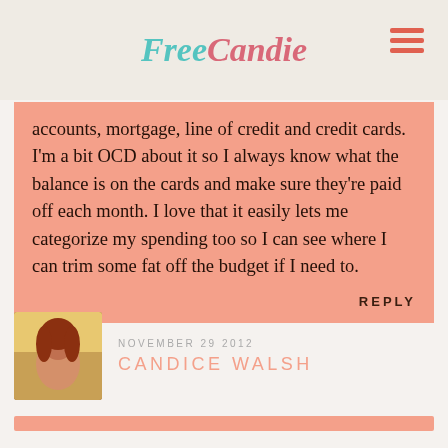FreeCandie
accounts, mortgage, line of credit and credit cards. I'm a bit OCD about it so I always know what the balance is on the cards and make sure they're paid off each month. I love that it easily lets me categorize my spending too so I can see where I can trim some fat off the budget if I need to.
REPLY
NOVEMBER 29 2012
CANDICE WALSH